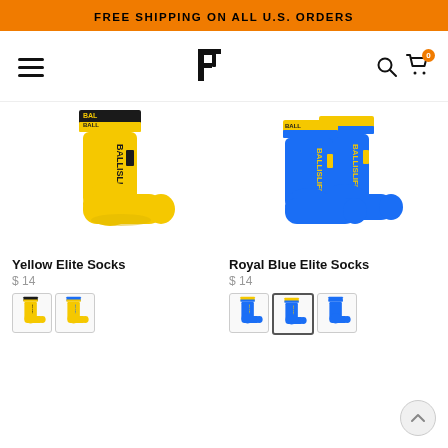FREE SHIPPING ON ALL U.S. ORDERS
[Figure (logo): Ballislife logo - stylized 'b' letter mark in black]
[Figure (photo): Yellow Elite Socks with BALLISLIFE text and black trim]
Yellow Elite Socks
$ 14
[Figure (photo): Royal Blue Elite Socks with BALLISLIFE text and yellow trim]
Royal Blue Elite Socks
$ 14